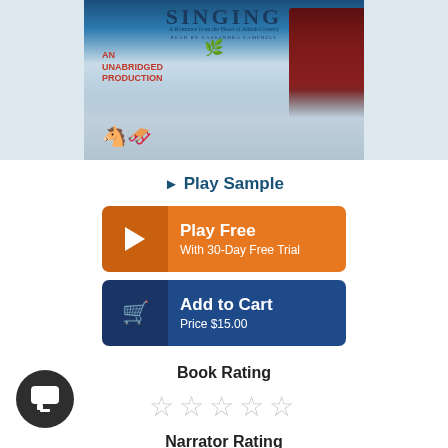[Figure (illustration): Book cover for an Amish romance audiobook titled SINGING. Shows a woman in a red coat standing by a snowy window. Text reads: A Romance from the Heart of Amish Country, Read by Cassandra Campbell, AN UNABRIDGED PRODUCTION. Holly decoration visible.]
▶ Play Sample
Play Free
With 30-Day Free Trial
Add to Cart
Price $15.00
Book Rating
★★★★★ (empty stars)
Narrator Rating